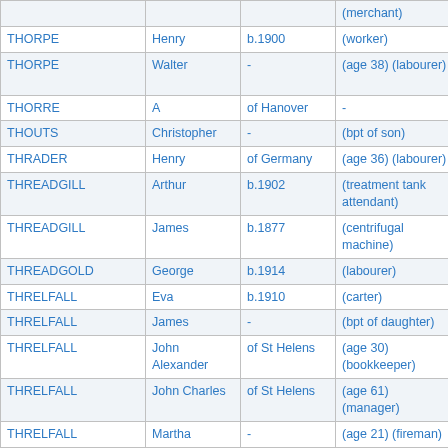| Surname | First name | Origin/Date | Description | Location |
| --- | --- | --- | --- | --- |
|  |  |  | (merchant) | Penge… |
| THORPE | Henry | b.1900 | (worker) | (42 Wo… St) |
| THORPE | Walter | - | (age 38) (labourer) | (9 Bour… Batters… |
| THORRE | A | of Hanover | - | - |
| THOUTS | Christopher | - | (bpt of son) | (Mary A… |
| THRADER | Henry | of Germany | (age 36) (labourer) | (191 At… |
| THREADGILL | Arthur | b.1902 | (treatment tank attendant) | (25 Elp… |
| THREADGILL | James | b.1877 | (centrifugal machine) | (4 Elph… |
| THREADGOLD | George | b.1914 | (labourer) | (38 Ne… |
| THRELFALL | Eva | b.1910 | (carter) | (8 Rem… |
| THRELFALL | James | - | (bpt of daughter) | (Sir Th… Bldgs) |
| THRELFALL | John Alexander | of St Helens | (age 30) (bookkeeper) | (6 Silve… |
| THRELFALL | John Charles | of St Helens | (age 61) (manager) | (6 Silve… |
| THRELFALL | Martha | - | (age 21) (fireman) | (100 Be… |
| THRELFORD | James | - | (bpt of daughter) | (Crosbh… |